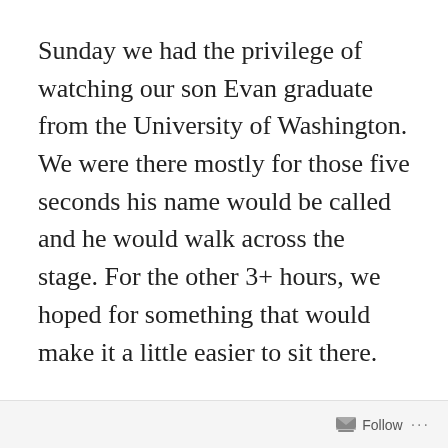Sunday we had the privilege of watching our son Evan graduate from the University of Washington. We were there mostly for those five seconds his name would be called and he would walk across the stage. For the other 3+ hours, we hoped for something that would make it a little easier to sit there.
We got it in the form of a commencement address by noted author, poet, and screenwriter Sherman Alexie, a Spokane/Coeur d’Alene Indian. Someone should add comedian to that triad of
Follow